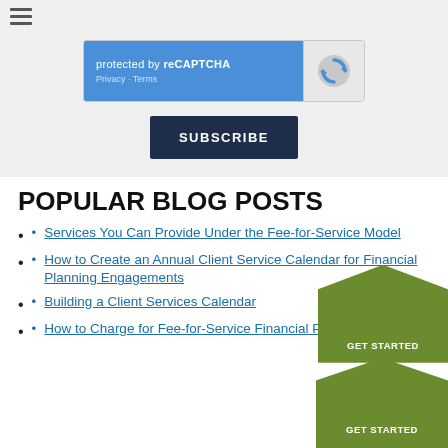[Figure (screenshot): reCAPTCHA widget with blue left panel showing 'protected by reCAPTCHA' text and Privacy/Terms links, and gray right panel with reCAPTCHA logo]
SUBSCRIBE
POPULAR BLOG POSTS
Services You Can Provide Under the Fee-for-Service Model
How to Create an Annual Client Service Calendar for Financial Planning Engagements
Building a Client Services Calendar
How to Charge for Fee-for-Service Financial Planning 🡺